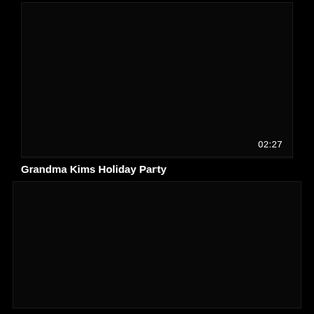[Figure (screenshot): Dark/black video thumbnail with timestamp 02:27 in bottom right corner]
Grandma Kims Holiday Party
[Figure (screenshot): Dark/black video thumbnail, no visible content]